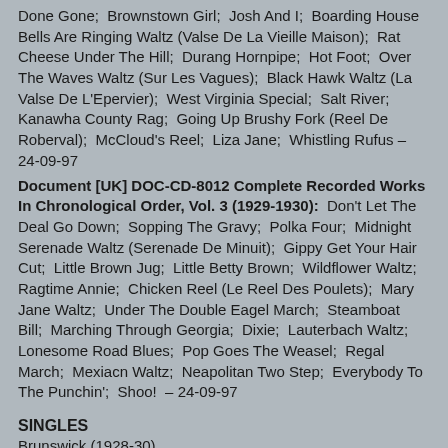Done Gone;  Brownstown Girl;  Josh And I;  Boarding House Bells Are Ringing Waltz (Valse De La Vieille Maison);  Rat Cheese Under The Hill;  Durang Hornpipe;  Hot Foot;  Over The Waves Waltz (Sur Les Vagues);  Black Hawk Waltz (La Valse De L'Epervier);  West Virginia Special;  Salt River;  Kanawha County Rag;  Going Up Brushy Fork (Reel De Roberval);  McCloud's Reel;  Liza Jane;  Whistling Rufus – 24-09-97
Document [UK] DOC-CD-8012 Complete Recorded Works In Chronological Order, Vol. 3 (1929-1930):  Don't Let The Deal Go Down;  Sopping The Gravy;  Polka Four;  Midnight Serenade Waltz (Serenade De Minuit);  Gippy Get Your Hair Cut;  Little Brown Jug;  Little Betty Brown;  Wildflower Waltz;  Ragtime Annie;  Chicken Reel (Le Reel Des Poulets);  Mary Jane Waltz;  Under The Double Eagel March;  Steamboat Bill;  Marching Through Georgia;  Dixie;  Lauterbach Waltz;  Lonesome Road Blues;  Pop Goes The Weasel;  Regal March;  Mexiacn Waltz;  Neapolitan Two Step;  Everybody To The Punchin';  Shoo!  – 24-09-97
SINGLES
Brunswick (1928-30)